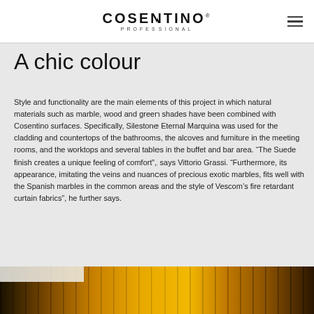COSENTINO PROFESSIONAL
A chic colour
Style and functionality are the main elements of this project in which natural materials such as marble, wood and green shades have been combined with Cosentino surfaces. Specifically, Silestone Eternal Marquina was used for the cladding and countertops of the bathrooms, the alcoves and furniture in the meeting rooms, and the worktops and several tables in the buffet and bar area. “The Suede finish creates a unique feeling of comfort”, says Vittorio Grassi. “Furthermore, its appearance, imitating the veins and nuances of precious exotic marbles, fits well with the Spanish marbles in the common areas and the style of Vescom’s fire retardant curtain fabrics”, he further says.
[Figure (photo): Bottom portion of an interior photo showing warm golden/amber toned vertical panels or curtains with dark elements, partially visible at the bottom of the page.]